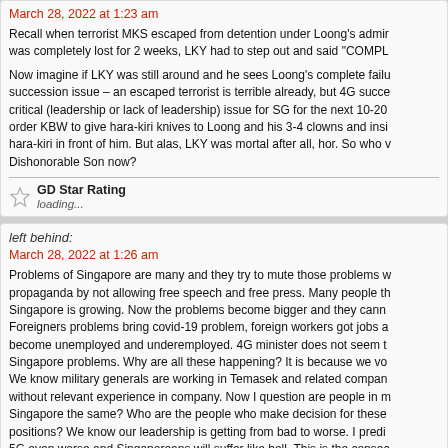March 28, 2022 at 1:23 am
Recall when terrorist MKS escaped from detention under Loong's administration, Loong was completely lost for 2 weeks, LKY had to step out and said "COMPL...
Now imagine if LKY was still around and he sees Loong's complete failure to handle the succession issue – an escaped terrorist is terrible already, but 4G succession is more critical (leadership or lack of leadership) issue for SG for the next 10-20 years. LKY would order KBW to give hara-kiri knives to Loong and his 3-4 clowns and insist they perform hara-kiri in front of him. But alas, LKY was mortal after all, hor. So who will discipline the Dishonorable Son now?
GD Star Rating
loading...
left behind:
March 28, 2022 at 1:26 am
Problems of Singapore are many and they try to mute those problems with propaganda by not allowing free speech and free press. Many people think Singapore is growing. Now the problems become bigger and they cannot hide. Foreigners problems bring covid-19 problem, foreign workers got jobs and locals become unemployed and underemployed. 4G minister does not seem to understand Singapore problems. Why are all these happening? It is because we vote wrongly. We know military generals are working in Temasek and related companies without relevant experience in company. Now I question are people in management of Singapore the same? Who are the people who make decision for these positions? We know our leadership is getting from bad to worse. I predict 5G even worse and Singaporeans will suffer like hell. This is the consequence of voting wrongly.
GD Star Rating
loading...